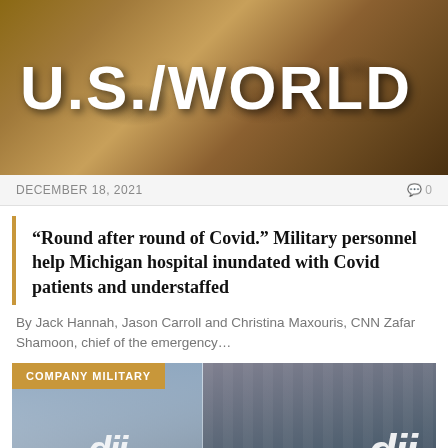[Figure (photo): Header banner with world map silhouette on wood-toned background with large white bold text reading U.S./WORLD]
DECEMBER 18, 2021
“Round after round of Covid.” Military personnel help Michigan hospital inundated with Covid patients and understaffed
By Jack Hannah, Jason Carroll and Christina Maxouris, CNN Zafar Shamoon, chief of the emergency…
[Figure (photo): Photo of DJI corporate building exterior with COMPANY MILITARY badge overlay, showing DJI logos on glass facades]